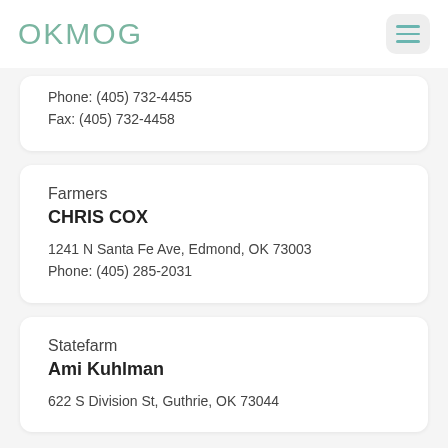OKMOG
Phone: (405) 732-4455
Fax: (405) 732-4458
Farmers
CHRIS COX
1241 N Santa Fe Ave, Edmond, OK 73003
Phone: (405) 285-2031
Statefarm
Ami Kuhlman
622 S Division St, Guthrie, OK 73044